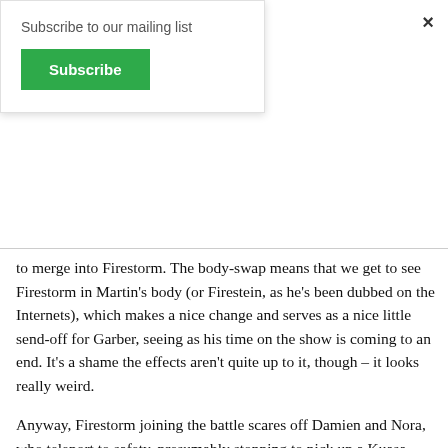Subscribe to our mailing list
Subscribe
×
to merge into Firestorm. The body-swap means that we get to see Firestorm in Martin's body (or Firestein, as he's been dubbed on the Internets), which makes a nice change and serves as a nice little send-off for Garber, seeing as his time on the show is coming to an end. It's a shame the effects aren't quite up to it, though – it looks really weird.
Anyway, Firestorm joining the battle scares off Damien and Nora, who teleport to safety, presumably stopping to pick up a Kuasa-shaped puddle along the way. With everyone back aboard the Waverider (which is working again, now that Hedy's career is back on track), Ray confesses to Amaya that he had